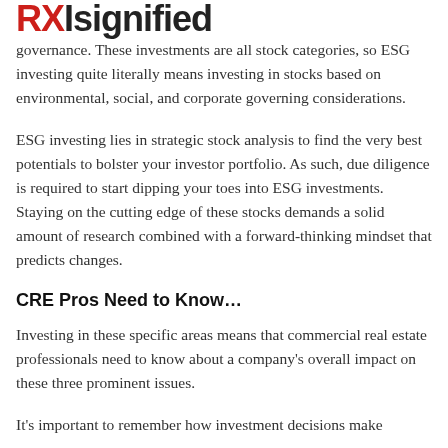RXIsignified
governance. These investments are all stock categories, so ESG investing quite literally means investing in stocks based on environmental, social, and corporate governing considerations.
ESG investing lies in strategic stock analysis to find the very best potentials to bolster your investor portfolio. As such, due diligence is required to start dipping your toes into ESG investments. Staying on the cutting edge of these stocks demands a solid amount of research combined with a forward-thinking mindset that predicts changes.
CRE Pros Need to Know…
Investing in these specific areas means that commercial real estate professionals need to know about a company's overall impact on these three prominent issues.
It's important to remember how investment decisions make